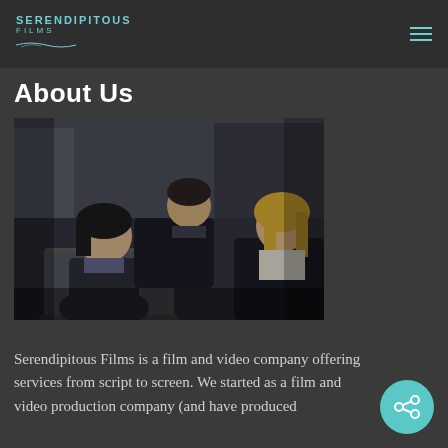SERENDIPITOUS FILMS
About Us
[Figure (photo): Three business professionals — two women and one man — gathered around a laptop in an office setting. The man leans over from behind while both women look at the screen.]
Serendipitous Films is a film and video company offering services from script to screen. We started as a film and video production company (and have produced